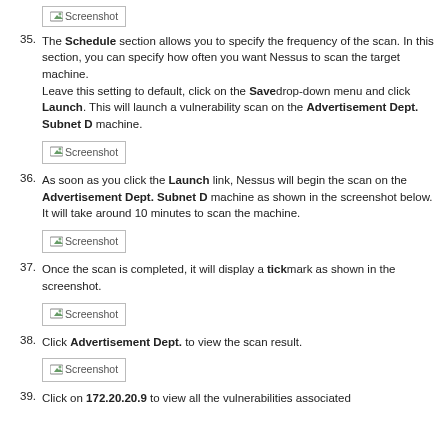[Figure (screenshot): Screenshot placeholder at top of page]
35. The Schedule section allows you to specify the frequency of the scan. In this section, you can specify how often you want Nessus to scan the target machine. Leave this setting to default, click on the Save drop-down menu and click Launch. This will launch a vulnerability scan on the Advertisement Dept. Subnet D machine. [Screenshot]
36. As soon as you click the Launch link, Nessus will begin the scan on the Advertisement Dept. Subnet D machine as shown in the screenshot below. It will take around 10 minutes to scan the machine. [Screenshot]
37. Once the scan is completed, it will display a tick mark as shown in the screenshot. [Screenshot]
38. Click Advertisement Dept. to view the scan result. [Screenshot]
39. Click on 172.20.20.9 to view all the vulnerabilities associated with it.